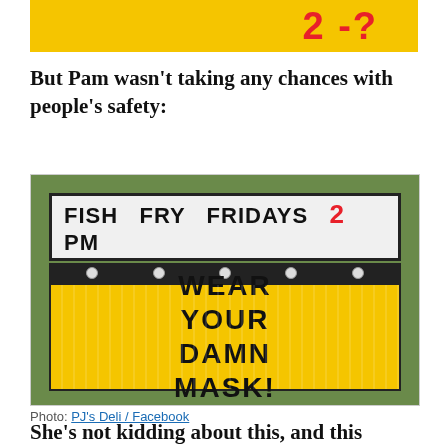[Figure (photo): Partial photo of a yellow sign showing '2-?' in red letters on yellow background, cropped at top of page]
But Pam wasn't taking any chances with people's safety:
[Figure (photo): Photo of a marquee sign at PJ's Deli reading 'FISH FRY FRIDAYS 2 PM' on white header and 'WEAR YOUR DAMN MASK!' on yellow background below]
Photo: PJ's Deli / Facebook
She's not kidding about this, and this